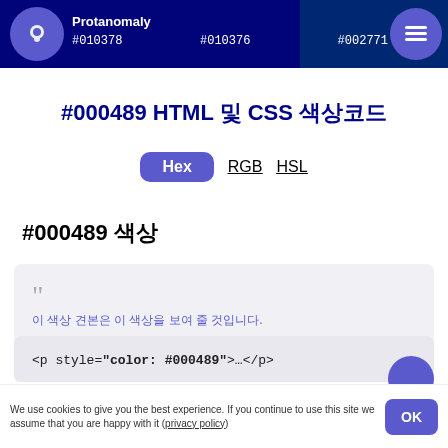Protanomaly #010378 #010376 #002771
#000489 HTML 및 CSS 색상코드
Hex RGB HSL
#000489 색상
이 색상 견본은 이 색상을 보여 줄 것입니다.
<p style="color: #000489">…</p>
We use cookies to give you the best experience. If you continue to use this site we assume that you are happy with it (privacy policy)